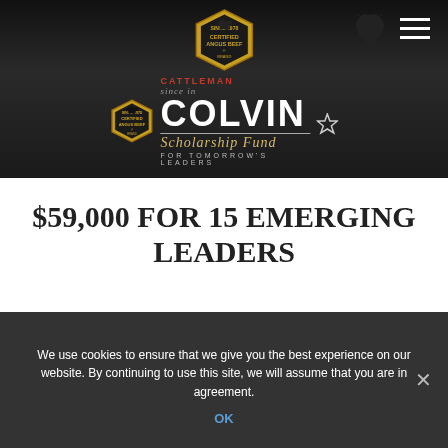[Figure (logo): Certified Angus Beef brand Cattleman Colvin Scholarship Fund logo on dark wood-grain banner background with hamburger menu icon]
$59,000 FOR 15 EMERGING LEADERS
by Paige Holbrooks
We use cookies to ensure that we give you the best experience on our website. By continuing to use this site, we will assume that you are in agreement.
OK